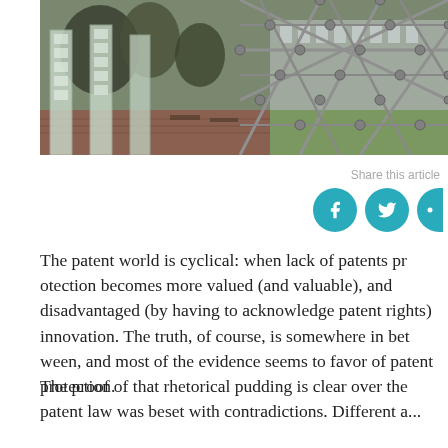[Figure (photo): Outdoor photo showing glass block columns/pillars on a brick plaza with trees, next to a large geodesic/lattice metal structure, with a modern building visible in the background.]
Share this article
The patent world is cyclical: when lack of patents pr... protection becomes more valued (and valuable), and disadvantaged (by having to acknowledge patent rig... innovation. The truth, of course, is somewhere in bet... favor of patent protection.
The proof of that rhetorical pudding is clear over the... patent law was beset with contradictions. Different a...